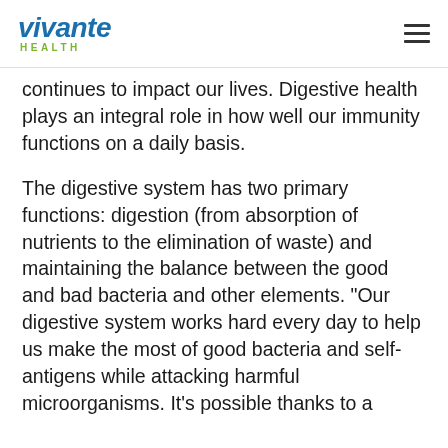vivante HEALTH
continues to impact our lives. Digestive health plays an integral role in how well our immunity functions on a daily basis.
The digestive system has two primary functions: digestion (from absorption of nutrients to the elimination of waste) and maintaining the balance between the good and bad bacteria and other elements. “Our digestive system works hard every day to help us make the most of good bacteria and self-antigens while attacking harmful microorganisms. It’s possible thanks to a